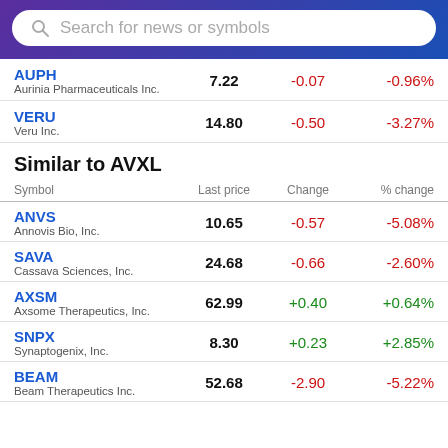[Figure (screenshot): Search bar with magnifying glass icon and placeholder text 'Search for news or symbols' on a purple-blue gradient background]
| Symbol | Last price | Change | % change |
| --- | --- | --- | --- |
| AUPH
Aurinia Pharmaceuticals Inc. | 7.22 | -0.07 | -0.96% |
| VERU
Veru Inc. | 14.80 | -0.50 | -3.27% |
Similar to AVXL
| Symbol | Last price | Change | % change |
| --- | --- | --- | --- |
| ANVS
Annovis Bio, Inc. | 10.65 | -0.57 | -5.08% |
| SAVA
Cassava Sciences, Inc. | 24.68 | -0.66 | -2.60% |
| AXSM
Axsome Therapeutics, Inc. | 62.99 | +0.40 | +0.64% |
| SNPX
Synaptogenix, Inc. | 8.30 | +0.23 | +2.85% |
| BEAM
Beam Therapeutics Inc. | 52.68 | -2.90 | -5.22% |